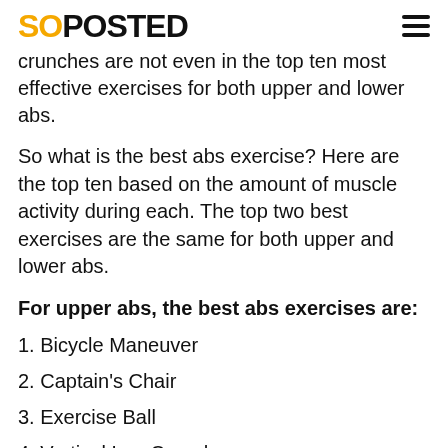SOPOSTED
crunches are not even in the top ten most effective exercises for both upper and lower abs.
So what is the best abs exercise? Here are the top ten based on the amount of muscle activity during each. The top two best exercises are the same for both upper and lower abs.
For upper abs, the best abs exercises are:
1. Bicycle Maneuver
2. Captain's Chair
3. Exercise Ball
4. Vertical Leg Crunch
5. Torso Track
6. Long-Arm Crunch